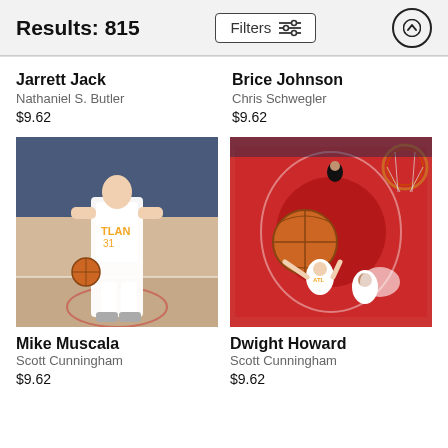Results: 815
Jarrett Jack
Nathaniel S. Butler
$9.62
Brice Johnson
Chris Schwegler
$9.62
[Figure (photo): Basketball player Mike Muscala in Atlanta Hawks uniform dribbling on court]
Mike Muscala
Scott Cunningham
$9.62
[Figure (photo): Aerial view of Dwight Howard dunking basketball in Atlanta Hawks game]
Dwight Howard
Scott Cunningham
$9.62